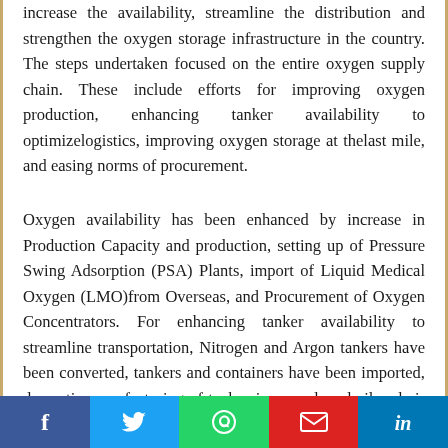increase the availability, streamline the distribution and strengthen the oxygen storage infrastructure in the country. The steps undertaken focused on the entire oxygen supply chain. These include efforts for improving oxygen production, enhancing tanker availability to optimizelogistics, improving oxygen storage at thelast mile, and easing norms of procurement.
Oxygen availability has been enhanced by increase in Production Capacity and production, setting up of Pressure Swing Adsorption (PSA) Plants, import of Liquid Medical Oxygen (LMO)from Overseas, and Procurement of Oxygen Concentrators. For enhancing tanker availability to streamline transportation, Nitrogen and Argon tankers have been converted, tankers and containers have been imported, domestic manufacturing of tankersincreased, andrail and air transportation of tankers is being